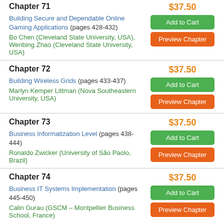Chapter 71
$37.50
Building Secure and Dependable Online Gaming Applications (pages 428-432)
Bo Chen (Cleveland State University, USA), Wenbing Zhao (Cleveland State University, USA)
Chapter 72
$37.50
Building Wireless Grids (pages 433-437)
Marlyn Kemper Littman (Nova Southeastern University, USA)
Chapter 73
$37.50
Business Informatization Level (pages 438-444)
Ronaldo Zwicker (University of São Paolo, Brazil)
Chapter 74
$37.50
Business IT Systems Implementation (pages 445-450)
Calin Gurau (GSCM – Montpellier Business School, France)